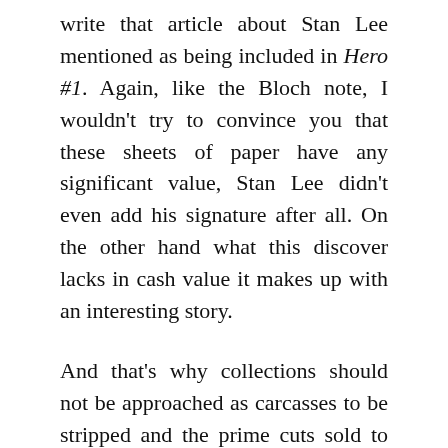write that article about Stan Lee mentioned as being included in Hero #1. Again, like the Bloch note, I wouldn't try to convince you that these sheets of paper have any significant value, Stan Lee didn't even add his signature after all. On the other hand what this discover lacks in cash value it makes up with an interesting story.
And that's why collections should not be approached as carcasses to be stripped and the prime cuts sold to the highest bidder. Instead they should be approached with care lest you trample right over the best stories they contain.
Remember, always tread carefully and carry a